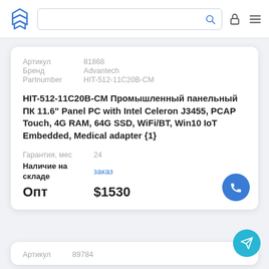Navigation bar with logo, search box, lock icon and menu icon
| Артикул | 81868 |
| --- | --- |
| Бренд | Advantech |
| Partnumber | HIT-512-11C20B-CM |
HIT-512-11C20B-CM Промышленный панельный ПК 11.6" Panel PC with Intel Celeron J3455, PCAP Touch, 4G RAM, 64G SSD, WiFi/BT, Win10 IoT Embedded, Medical adapter {1}
| Гарантия, мес | 24 |
| --- | --- |
| Наличие на складе | заказ |
| Опт | $1530 |
| Артикул | 89784 |
| --- | --- |